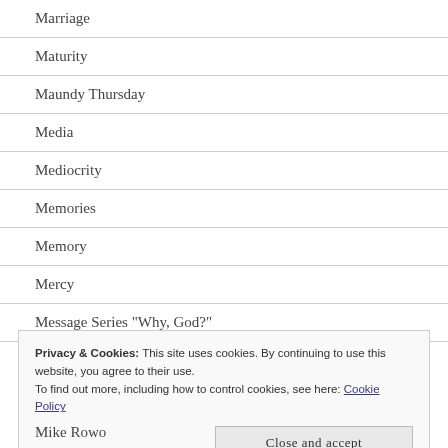Marriage
Maturity
Maundy Thursday
Media
Mediocrity
Memories
Memory
Mercy
Message Series "Why, God?"
Privacy & Cookies: This site uses cookies. By continuing to use this website, you agree to their use.
To find out more, including how to control cookies, see here: Cookie Policy
Mike Rowo